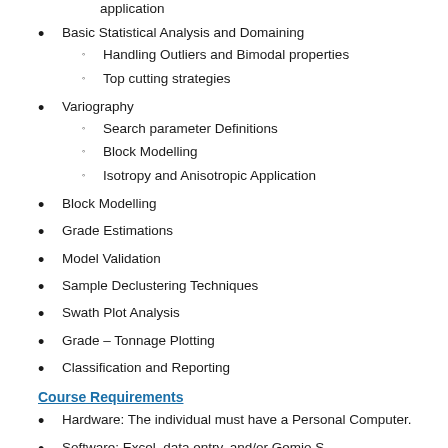application
Basic Statistical Analysis and Domaining
Handling Outliers and Bimodal properties
Top cutting strategies
Variography
Search parameter Definitions
Block Modelling
Isotropy and Anisotropic Application
Block Modelling
Grade Estimations
Model Validation
Sample Declustering Techniques
Swath Plot Analysis
Grade – Tonnage Plotting
Classification and Reporting
Course Requirements
Hardware: The individual must have a Personal Computer.
Software: Excel, data entry, and/or Gemio S...